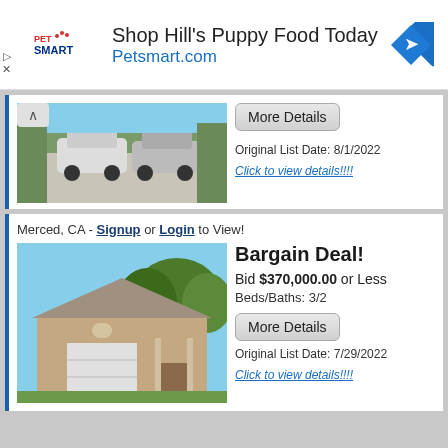[Figure (screenshot): PetSmart advertisement banner: logo on left, text 'Shop Hill's Puppy Food Today' and 'Petsmart.com' in center, navigation arrow icon on right]
[Figure (photo): Driveway with two cars parked in front of a house]
More Details
Original List Date: 8/1/2022
Click to view details!!!!
Merced, CA - Signup or Login to View!
[Figure (photo): Single-story house with garage and trees in Merced, CA]
Bargain Deal!
Bid $370,000.00 or Less
Beds/Baths: 3/2
More Details
Original List Date: 7/29/2022
Click to view details!!!!